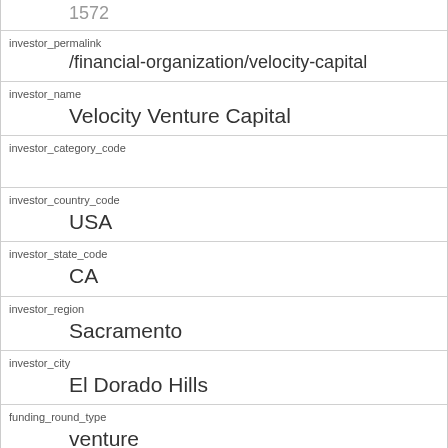1572
| investor_permalink | /financial-organization/velocity-capital |
| investor_name | Velocity Venture Capital |
| investor_category_code |  |
| investor_country_code | USA |
| investor_state_code | CA |
| investor_region | Sacramento |
| investor_city | El Dorado Hills |
| funding_round_type | venture |
| funded_at | 1215561600 |
| funded_year | 2008 |